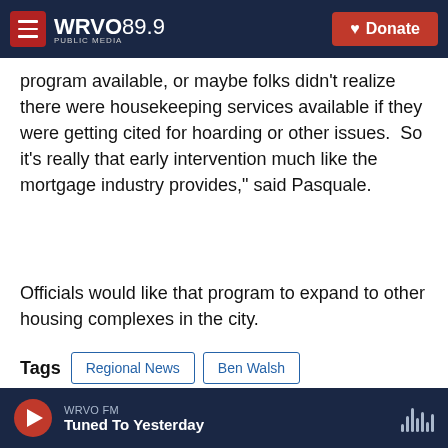WRVO Public Media 89.9 | Donate
program available, or maybe folks didn't realize there were housekeeping services available if they were getting cited for hoarding or other issues.  So it's really that early intervention much like the mortgage industry provides," said Pasquale.
Officials would like that program to expand to other housing complexes in the city.
Tags  Regional News  Ben Walsh  regional news  City of Syracuse  Stephanie Pasquale  housing instability
WRVO FM | Tuned To Yesterday